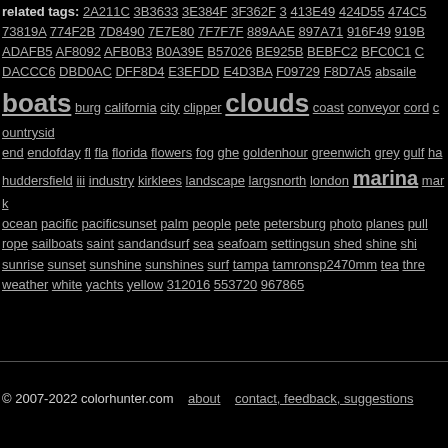related tags: 2A211C 3B3633 3E384F 3F362F 3 413E49 424D55 474C50 73819A 774F2B 7D8490 7E7E80 7F7F7F 889AAE 897A71 916F49 919B ADAFB5 AF8092 AFB0B3 B0A39E B57026 BE925B BEBFC2 BFC0C1 C DACCC6 DBD0AC DFF8D4 E3EFDD E4D3BA F09729 F8D7A5 absailer boats burg california city clipper clouds coast conveyor cord countryside end endofday fl fla florida flowers fog ghe goldenhour greenwich grey gulf ha huddersfield iii industry kirklees landscape largsnorth london marina mark ocean pacific pacificsunset palm people pete petersburg photo planes pull rope sailboats saint sandandsurf sea seafoam settingsun shed shine shi sunrise sunset sunshine sunshines surf tampa tamronsp2470mm tea thre weather white yachts yellow 312016 553720 967865
© 2007-2022 colorhunter.com   about   contact, feedback, suggestions